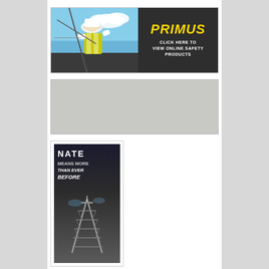[Figure (illustration): Primus safety products advertisement banner: left half shows a worker in yellow safety vest and hard hat on a tower against blue sky; right half is dark with yellow italic PRIMUS logo and white text 'CLICK HERE TO VIEW ONLINE SAFETY PRODUCTS']
[Figure (illustration): Gray placeholder advertisement rectangle]
[Figure (illustration): NATE advertisement: dark background with NATE logo in white, tagline 'MEANS MORE THAN EVER BEFORE' and image of a communications tower]